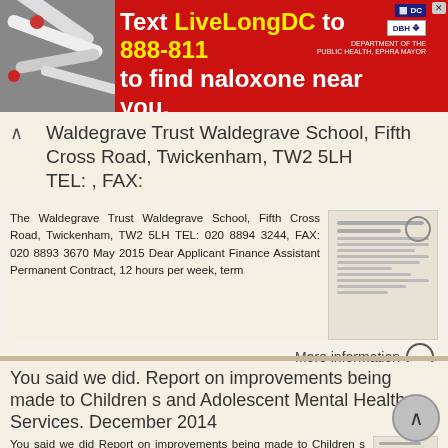[Figure (screenshot): Red advertisement banner: Text LiveLongDC to 888-811 to find naloxone near you. Logos for DC and DBH visible.]
Waldegrave Trust Waldegrave School, Fifth Cross Road, Twickenham, TW2 5LH TEL: , FAX:
The Waldegrave Trust Waldegrave School, Fifth Cross Road, Twickenham, TW2 5LH TEL: 020 8894 3244, FAX: 020 8893 3670 May 2015 Dear Applicant Finance Assistant Permanent Contract, 12 hours per week, term
More information →
You said we did. Report on improvements being made to Children s and Adolescent Mental Health Services. December 2014
You said we did Report on improvements being made to Children s and Adolescent Mental Health Services. December 2014